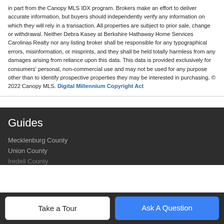in part from the Canopy MLS IDX program. Brokers make an effort to deliver accurate information, but buyers should independently verify any information on which they will rely in a transaction. All properties are subject to prior sale, change or withdrawal. Neither Debra Kasey at Berkshire Hathaway Home Services Carolinas Realty nor any listing broker shall be responsible for any typographical errors, misinformation, or misprints, and they shall be held totally harmless from any damages arising from reliance upon this data. This data is provided exclusively for consumers' personal, non-commercial use and may not be used for any purpose other than to identify prospective properties they may be interested in purchasing. © 2022 Canopy MLS. Digital Millennium Copyright Act
Guides
Mecklenburg County
Union County
Iredell County